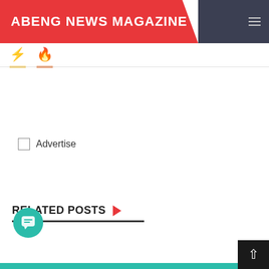ABENG NEWS MAGAZINE
[Figure (screenshot): Website navigation bar with red section containing site title 'ABENG NEWS MAGAZINE', dark section with hamburger menu and search icon]
[Figure (illustration): Two tab icons: a lightning bolt in yellow and a fire/droplet icon in orange, with colored underline tabs]
[Figure (other): Broken image placeholder labeled 'Advertise']
RELATED POSTS
[Figure (other): Chat bubble icon button (teal circle with message icon)]
[Figure (other): Back to top button (dark square with up arrow)]